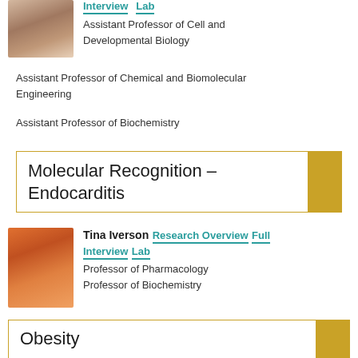[Figure (photo): Portrait photo of a woman with dark hair]
Interview   Lab
Assistant Professor of Cell and Developmental Biology
Assistant Professor of Chemical and Biomolecular Engineering
Assistant Professor of Biochemistry
Molecular Recognition – Endocarditis
[Figure (photo): Portrait photo of Tina Iverson with red/orange hair]
Tina Iverson   Research Overview   Full Interview   Lab
Professor of Pharmacology
Professor of Biochemistry
Obesity